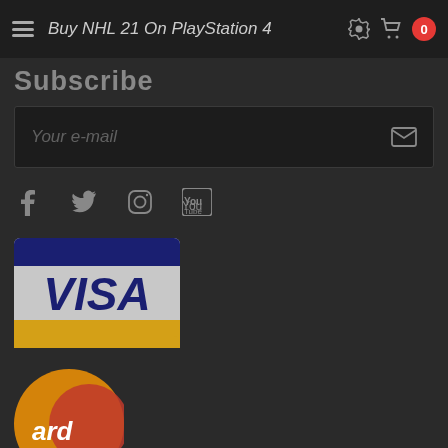Buy NHL 21 On PlayStation 4
Subscribe
Your e-mail
[Figure (logo): Social media icons: Facebook, Twitter, Instagram, YouTube]
[Figure (logo): Visa credit card logo]
[Figure (logo): Mastercard logo partially visible at bottom]